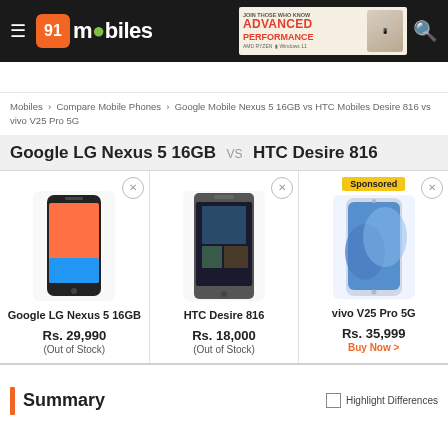91mobiles — site header with logo, ad banner, and search icon
Mobiles › Compare Mobile Phones › Google Mobile Nexus 5 16GB vs HTC Mobiles Desire 816 vs vivo V25 Pro 5G
Google LG Nexus 5 16GB VS HTC Desire 816
[Figure (photo): Google LG Nexus 5 16GB smartphone front view]
[Figure (photo): HTC Desire 816 smartphone front view]
[Figure (photo): vivo V25 Pro 5G smartphone front view with Sponsored badge]
Google LG Nexus 5 16GB
Rs. 29,990
(Out of Stock)
HTC Desire 816
Rs. 18,000
(Out of Stock)
vivo V25 Pro 5G
Rs. 35,999
Buy Now >
Summary
Highlight Differences